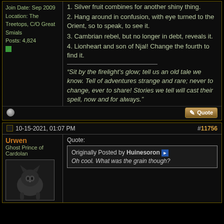Join Date: Sep 2009
Location: The Treetops, C/O Great Smials
Posts: 4,824
1. Silver fruit combines for another shiny thing.
2. Hang around in confusion, with eye turned to the Orient, so to speak, to see it.
3. Cambrian rebel, but no longer in debt, reveals it.
4. Lionheart and son of Njal! Change the fourth to find it.
"Sit by the firelight's glow; tell us an old tale we know. Tell of adventures strange and rare; never to change, ever to share! Stories we tell will cast their spell, now and for always."
10-15-2021, 01:07 PM
#11756
Urwen
Ghost Prince of Cardolan
Quote:
Originally Posted by Huinesoron
Oh cool. What was the grain though?